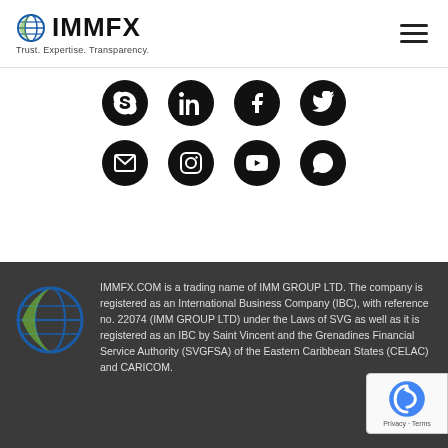IMMFX — Trust. Expertise. Transparency.
[Figure (other): Grid of 8 social media icon circles (Skype, LinkedIn, Facebook, Twitter, Email, Instagram, YouTube, WhatsApp) in two rows of four, black circles with white icons]
IMMFX.COM is a trading name of IMM GROUP LTD. The company is registered as an International Business Company (IBC), with reference no. 22074 (IMM GROUP LTD) under the Laws of SVG as well as it is registered as an IBC by Saint Vincent and the Grenadines Financial Service Authority (SVGFSA) of the Eastern Caribbean States (CELAC) and CARICOM.